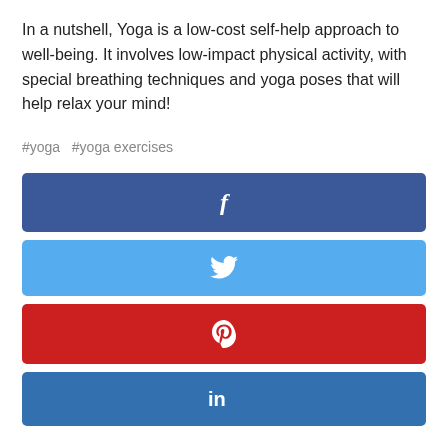In a nutshell, Yoga is a low-cost self-help approach to well-being. It involves low-impact physical activity, with special breathing techniques and yoga poses that will help relax your mind!
#yoga  #yoga exercises
[Figure (infographic): Four social media share buttons: Facebook (dark blue, 'f' icon), Twitter (light blue, bird icon), Pinterest (red, 'P' icon), LinkedIn (medium blue, 'in' icon)]
YOU MAY ALSO LIKE